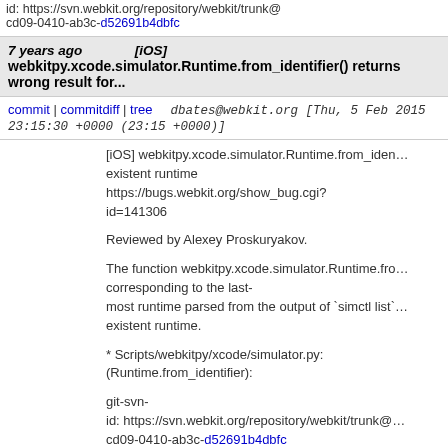id: https://svn.webkit.org/repository/webkit/trunk@cd09-0410-ab3c-d52691b4dbfc
7 years ago   [iOS] webkitpy.xcode.simulator.Runtime.from_identifier() returns wrong result for...
commit | commitdiff | tree   dbates@webkit.org [Thu, 5 Feb 2015 23:15:30 +0000 (23:15 +0000)]
[iOS] webkitpy.xcode.simulator.Runtime.from_identifier() returns wrong result for non-existent runtime
https://bugs.webkit.org/show_bug.cgi?id=141306

Reviewed by Alexey Proskuryakov.

The function webkitpy.xcode.simulator.Runtime.from_identifier() now returns the runtime corresponding to the last-most runtime parsed from the output of `simctl list` instead of a non-existent runtime.

* Scripts/webkitpy/xcode/simulator.py:
(Runtime.from_identifier):

git-svn-id: https://svn.webkit.org/repository/webkit/trunk@cd09-0410-ab3c-d52691b4dbfc